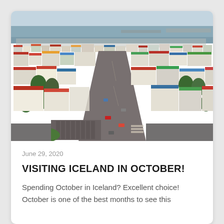[Figure (photo): Aerial view of Reykjavik, Iceland, showing colorful rooftops of buildings, streets with cars, green trees, and the ocean/harbor in the background under a cloudy sky]
June 29, 2020
VISITING ICELAND IN OCTOBER!
Spending October in Iceland? Excellent choice! October is one of the best months to see this